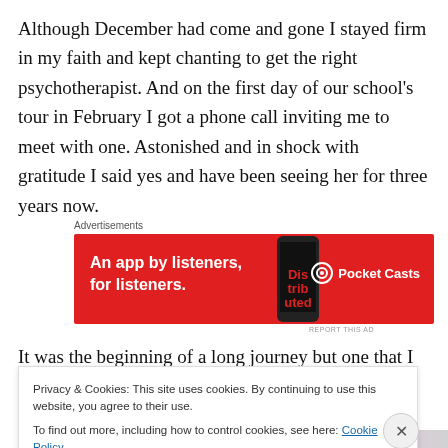Although December had come and gone I stayed firm in my faith and kept chanting to get the right psychotherapist. And on the first day of our school's tour in February I got a phone call inviting me to meet with one. Astonished and in shock with gratitude I said yes and have been seeing her for three years now.
Advertisements
[Figure (other): Pocket Casts advertisement banner: red background with text 'An app by listeners, for listeners.' and Pocket Casts logo on the right, phone image in center-right.]
It was the beginning of a long journey but one that I will
Privacy & Cookies: This site uses cookies. By continuing to use this website, you agree to their use.
To find out more, including how to control cookies, see here: Cookie Policy
Close and accept